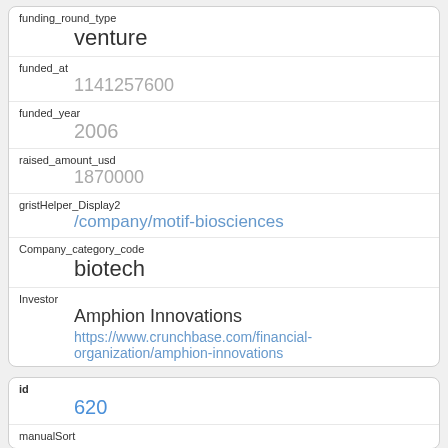| funding_round_type | venture |
| funded_at | 1141257600 |
| funded_year | 2006 |
| raised_amount_usd | 1870000 |
| gristHelper_Display2 | /company/motif-biosciences |
| Company_category_code | biotech |
| Investor | Amphion Innovations
https://www.crunchbase.com/financial-organization/amphion-innovations |
| id | 620 |
| manualSort |  |